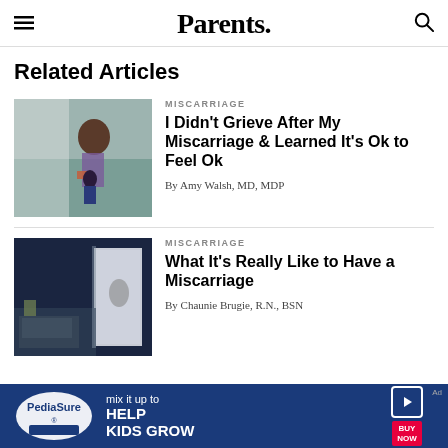Parents.
Related Articles
MISCARRIAGE
I Didn't Grieve After My Miscarriage & Learned It's Ok to Feel Ok
By Amy Walsh, MD, MDP
MISCARRIAGE
What It's Really Like to Have a Miscarriage
By Chaunie Brugie, R.N., BSN
[Figure (photo): Woman and child standing by water, outdoor photo]
[Figure (photo): Dark bedroom with light from doorway]
[Figure (photo): PediaSure advertisement banner - mix it up to HELP KIDS GROW BUY NOW]